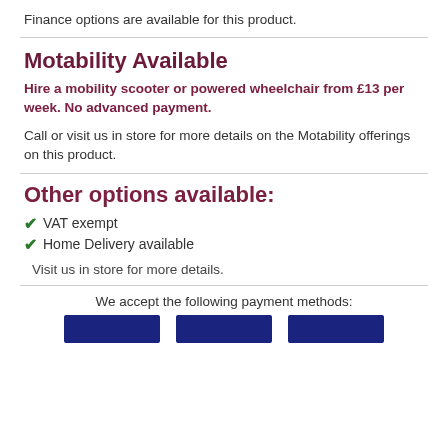Finance options are available for this product.
Motability Available
Hire a mobility scooter or powered wheelchair from £13 per week. No advanced payment.
Call or visit us in store for more details on the Motability offerings on this product.
Other options available:
VAT exempt
Home Delivery available
Visit us in store for more details.
We accept the following payment methods: